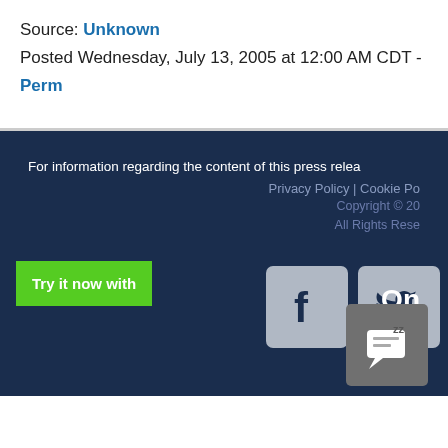Source: Unknown
Posted Wednesday, July 13, 2005 at 12:00 AM CDT - Perm
For information regarding the content of this press relea
Privacy Policy | Cookie Po
Copyright © 20
All Rights Rese
[Figure (other): Facebook icon button (grey rounded square with white f logo)]
[Figure (other): Twitter icon button (grey rounded square with white bird logo)]
Try it now with
On
[Figure (other): Chat widget icon with speech bubble and Zzz sleep indicator]